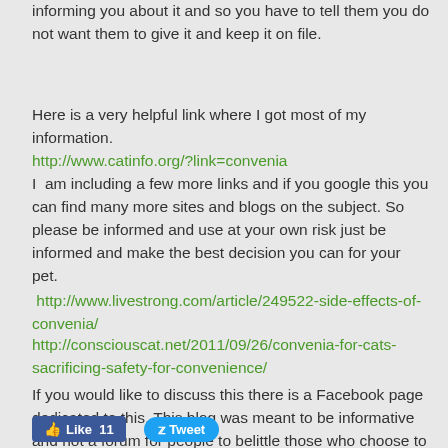informing you about it and so you have to tell them you do not want them to give it and keep it on file.
Here is a very helpful link where I got most of my information.
http://www.catinfo.org/?link=convenia
I am including a few more links and if you google this you can find many more sites and blogs on the subject. So please be informed and use at your own risk just be informed and make the best decision you can for your pet.
http://www.livestrong.com/article/249522-side-effects-of-convenia/
http://consciouscat.net/2011/09/26/convenia-for-cats-sacrificing-safety-for-convenience/
If you would like to discuss this there is a Facebook page dedicated to this. This blog was meant to be informative and not a forum for people to belittle those who choose to use convenia.